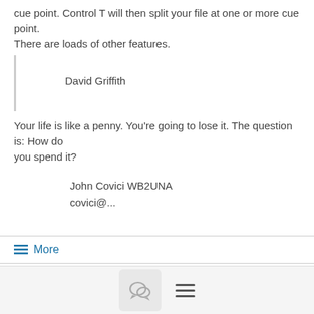cue point.  Control T will then split your file at one or more cue point.
There are loads of other features.
David Griffith
Your life is like a penny.  You're going to lose it.  The question is: How do
you spend it?
John Covici WB2UNA
covici@...
≡ More
⚖ Anyone using microsoft's WiFi Analyzer?